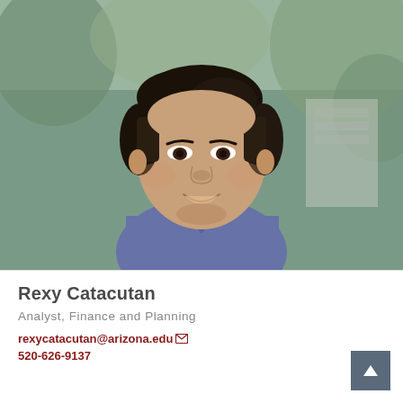[Figure (photo): Professional headshot of Rexy Catacutan, a young man smiling, wearing a blue/purple collared shirt, with blurred outdoor background with trees.]
Rexy Catacutan
Analyst, Finance and Planning
rexycatacutan@arizona.edu
520-626-9137